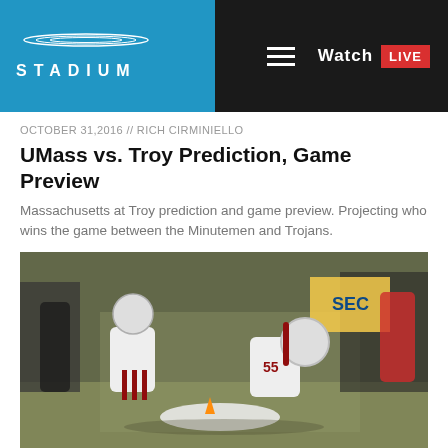STADIUM — Watch LIVE
OCTOBER 31,2016 // RICH CIRMINIELLO
UMass vs. Troy Prediction, Game Preview
Massachusetts at Troy prediction and game preview. Projecting who wins the game between the Minutemen and Trojans.
[Figure (photo): Two UMass football players in white uniforms with maroon stripes on the field, one crouching and one bending down, with other players and an SEC banner visible in the background.]
OCTOBER 27,2016 // ROBERT JUDIN